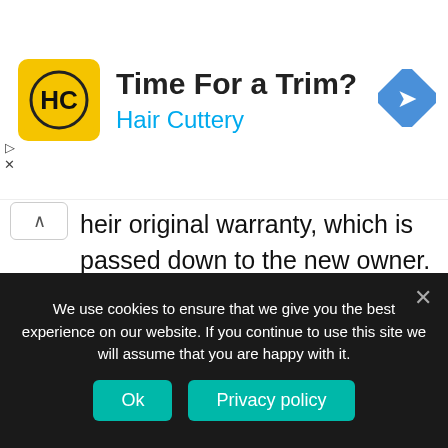[Figure (infographic): Advertisement banner for Hair Cuttery salon. Logo is a yellow square with HC letters and a hair icon. Text reads 'Time For a Trim?' and 'Hair Cuttery' in teal/blue. A blue diamond navigation icon appears on the right.]
heir original warranty, which is passed down to the new owner.
Unclear background. Banks usually send out a third-party to repo vehicles, so you probably won't know a lot about its background. The good news is that you can find most of this information online, as auction centers must
We use cookies to ensure that we give you the best experience on our website. If you continue to use this site we will assume that you are happy with it.